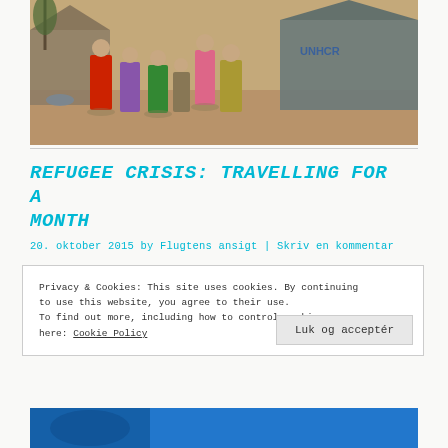[Figure (photo): Group of refugee children standing in front of UNHCR tents on sandy ground]
REFUGEE CRISIS: TRAVELLING FOR A MONTH
20. oktober 2015 by Flugtens ansigt | Skriv en kommentar
Privacy & Cookies: This site uses cookies. By continuing to use this website, you agree to their use. To find out more, including how to control cookies, see here: Cookie Policy
[Figure (photo): Bottom partial photo with blue color visible]